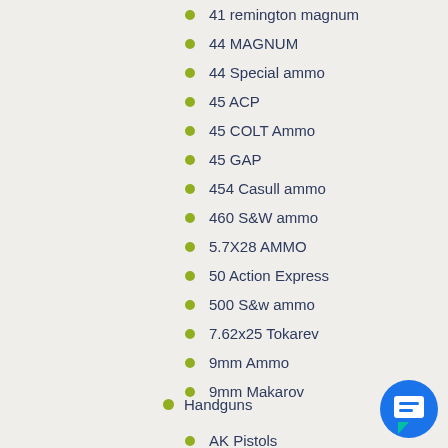41 remington magnum
44 MAGNUM
44 Special ammo
45 ACP
45 COLT Ammo
45 GAP
454 Casull ammo
460 S&W ammo
5.7X28 AMMO
50 Action Express
500 S&w ammo
7.62x25 Tokarev
9mm Ammo
9mm Makarov
Handguns
AK Pistols
AR Pistols